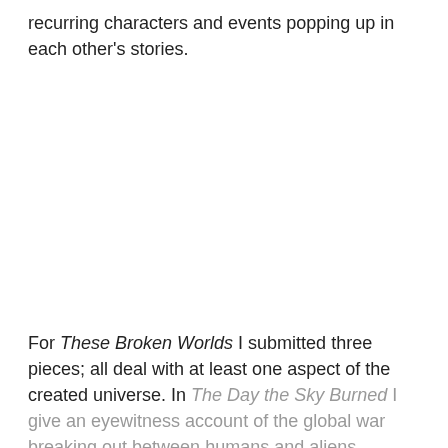recurring characters and events popping up in each other's stories.
For These Broken Worlds I submitted three pieces; all deal with at least one aspect of the created universe. In The Day the Sky Burned I give an eyewitness account of the global war breaking out between humans and aliens